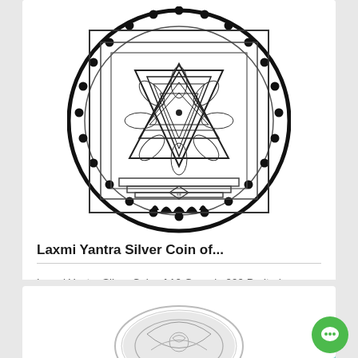[Figure (photo): Laxmi Yantra Silver Coin black and white circular mandala design with SBI diamond logo at bottom center]
Laxmi Yantra Silver Coin of...
Laxmi Yantra Silver Coin of 10 Gram in 999 Purity / Fineness
₹ 726.13
[Figure (photo): Silver coin with ornate design, partially visible at bottom of page]